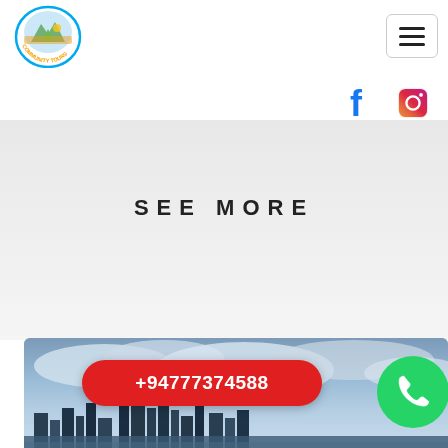[Figure (logo): Community Tours circular logo with Sri Lanka imagery and blue/orange text around the edge]
[Figure (other): Hamburger menu button (three horizontal lines) in a rounded rectangle border]
[Figure (other): Facebook icon (f) in blue]
[Figure (other): Instagram icon in red/orange gradient]
SEE MORE
[Figure (photo): City skyline photo with cloudy sky, featuring tall buildings. Red pill button overlay with phone number +94777374588 and WhatsApp green bubble icon on the right.]
+94777374588